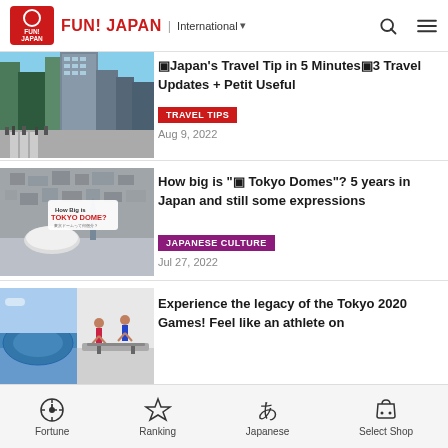FUN! JAPAN | International
[Figure (screenshot): Tokyo city street scene with tall buildings, crossing crowd - article thumbnail]
🎵Japan's Travel Tip in 5 Minutes🎵3 Travel Updates + Petit Useful
TRAVEL TIPS
Aug 9, 2022
[Figure (screenshot): Aerial view of Tokyo city with Tokyo Dome visible, with overlay text 'How Big is TOKYO DOME?']
How big is "🎵 Tokyo Domes"? 5 years in Japan and still some expressions
JAPANESE CULTURE
Jul 27, 2022
[Figure (screenshot): Two images: Tokyo Stadium exterior (left) and athletes on a balance beam (right)]
Experience the legacy of the Tokyo 2020 Games! Feel like an athlete on
Fortune  Ranking  Japanese  Select Shop